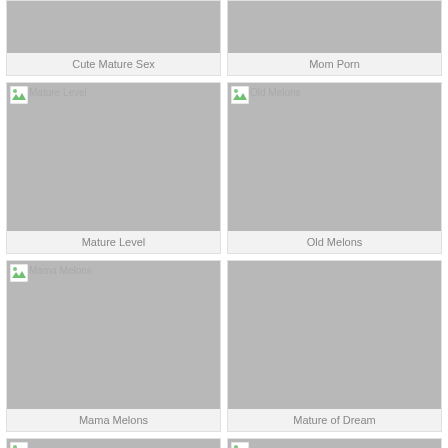[Figure (screenshot): Thumbnail grid of website cards with placeholder images. Top row (partially visible): 'Cute Mature Sex' and 'Mom Porn'. Second row: 'Mature Level' and 'Old Melons'. Third row: 'Mama Melons' and 'Mature of Dream'. Bottom row (partially visible): 'Mature Order' and 'Aged Vulvas'.]